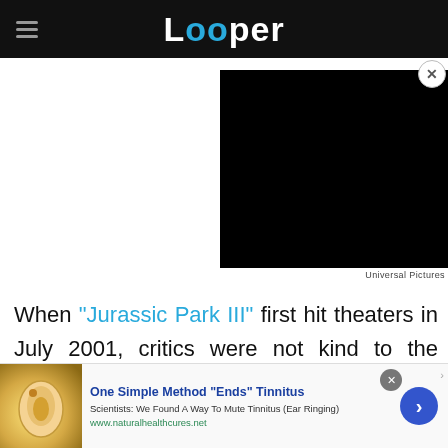Looper
[Figure (screenshot): Black video player embedded in upper right area of page]
Universal Pictures
When "Jurassic Park III" first hit theaters in July 2001, critics were not kind to the movie. The abbreviated runtime, annoying characters, and the lack of a prominent role for the T-Rex all were
[Figure (screenshot): Advertisement banner: One Simple Method "Ends" Tinnitus. Scientists: We Found A Way To Mute Tinnitus (Ear Ringing). www.naturalhealthcures.net]